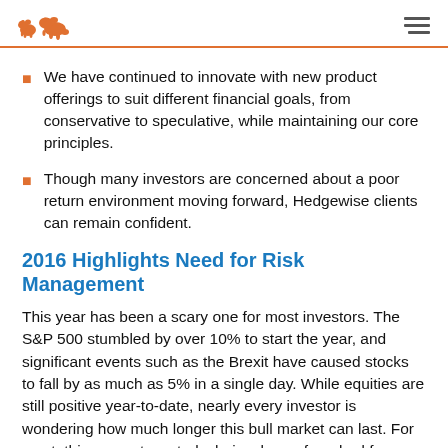[Hedgewise logo: two bear icons] [hamburger menu]
We have continued to innovate with new product offerings to suit different financial goals, from conservative to speculative, while maintaining our core principles.
Though many investors are concerned about a poor return environment moving forward, Hedgewise clients can remain confident.
2016 Highlights Need for Risk Management
This year has been a scary one for most investors. The S&P 500 stumbled by over 10% to start the year, and significant events such as the Brexit have caused stocks to fall by as much as 5% in a single day. While equities are still positive year-to-date, nearly every investor is wondering how much longer this bull market can last. For most, this presents a stark choice: brace for a bad few years, or move to cash but risk missing out if the bull finds its footing once more.